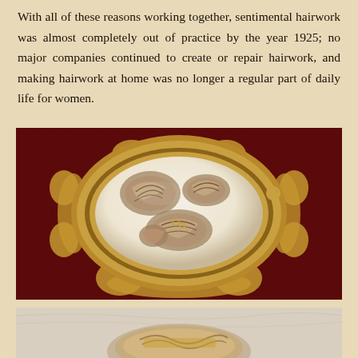With all of these reasons working together, sentimental hairwork was almost completely out of practice by the year 1925; no major companies continued to create or repair hairwork, and making hairwork at home was no longer a regular part of daily life for women.
[Figure (photo): A Victorian gold-toned ornate brooch with scrollwork filigree frame sitting on dark red velvet fabric. The brooch has an oval glass dome containing coiled and arranged locks of human hair in brown/tan tones arranged in a decorative pattern.]
[Figure (photo): Partial view of what appears to be another piece of Victorian hair jewelry, possibly a ring or locket, shown at the bottom of the page cropped.]